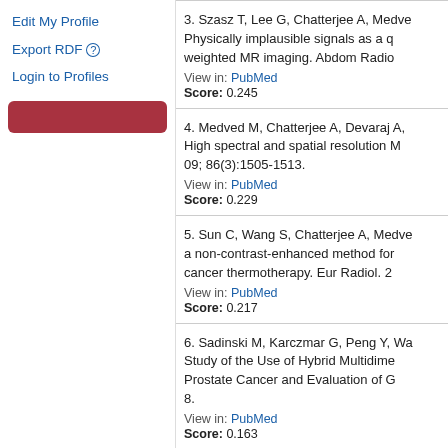Edit My Profile
Export RDF
Login to Profiles
3. Szasz T, Lee G, Chatterjee A, Medve... Physically implausible signals as a q... weighted MR imaging. Abdom Radiol... View in: PubMed Score: 0.245
4. Medved M, Chatterjee A, Devaraj A, ... High spectral and spatial resolution M... 09; 86(3):1505-1513. View in: PubMed Score: 0.229
5. Sun C, Wang S, Chatterjee A, Medve... a non-contrast-enhanced method for... cancer thermotherapy. Eur Radiol. 2... View in: PubMed Score: 0.217
6. Sadinski M, Karczmar G, Peng Y, Wa... Study of the Use of Hybrid Multidime... Prostate Cancer and Evaluation of G... 8. View in: PubMed Score: 0.163